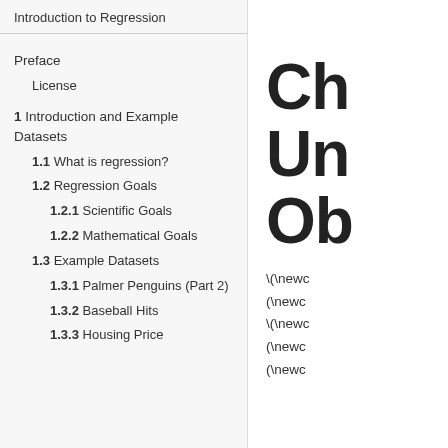Introduction to Regression
Preface
License
1 Introduction and Example Datasets
1.1 What is regression?
1.2 Regression Goals
1.2.1 Scientific Goals
1.2.2 Mathematical Goals
1.3 Example Datasets
1.3.1 Palmer Penguins (Part 2)
1.3.2 Baseball Hits
1.3.3 Housing Price
Ch
Un
Ob
\(\newc
(\newc
\(\newc
(\newc
(\newc